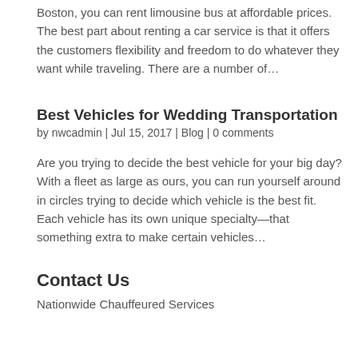Boston, you can rent limousine bus at affordable prices. The best part about renting a car service is that it offers the customers flexibility and freedom to do whatever they want while traveling. There are a number of…
Best Vehicles for Wedding Transportation
by nwcadmin | Jul 15, 2017 | Blog | 0 comments
Are you trying to decide the best vehicle for your big day? With a fleet as large as ours, you can run yourself around in circles trying to decide which vehicle is the best fit. Each vehicle has its own unique specialty—that something extra to make certain vehicles…
Contact Us
Nationwide Chauffeured Services